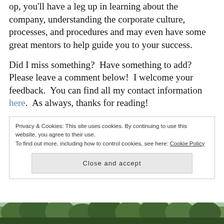op, you'll have a leg up in learning about the company, understanding the corporate culture, processes, and procedures and may even have some great mentors to help guide you to your success.
Did I miss something?  Have something to add?  Please leave a comment below!  I welcome your feedback.  You can find all my contact information here.  As always, thanks for reading!
Privacy & Cookies: This site uses cookies. By continuing to use this website, you agree to their use.
To find out more, including how to control cookies, see here: Cookie Policy
[Close and accept]
[Figure (photo): Bottom strip showing tree tops / foliage against sky]